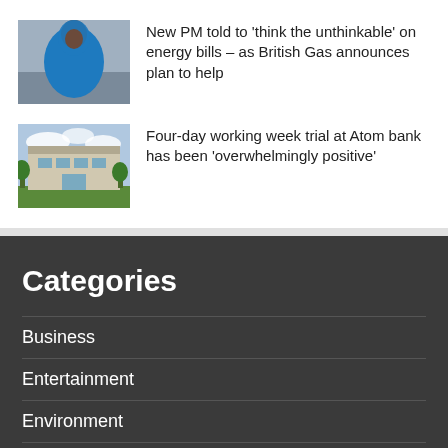[Figure (photo): Person wrapped in a blue blanket/shawl sitting on a grey sofa]
New PM told to 'think the unthinkable' on energy bills – as British Gas announces plan to help
[Figure (photo): A modern building with glass facade surrounded by green trees]
Four-day working week trial at Atom bank has been 'overwhelmingly positive'
Categories
Business
Entertainment
Environment
Politics